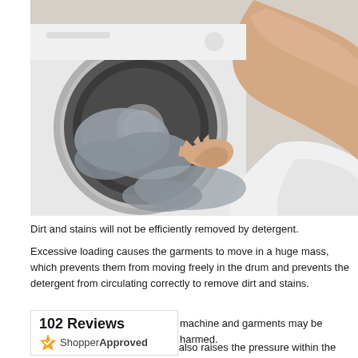[Figure (photo): Person loading or unloading laundry into a front-load washing machine, with grey/white garments visible and an arm reaching into the drum.]
Dirt and stains will not be efficiently removed by detergent.
Excessive loading causes the garments to move in a huge mass, which prevents them from moving freely in the drum and prevents the detergent from circulating correctly to remove dirt and stains.
machine and garments may be harmed.
[Figure (other): 102 Reviews badge from ShopperApproved widget]
While the drum is overloaded, it also raises the pressure within the drum,